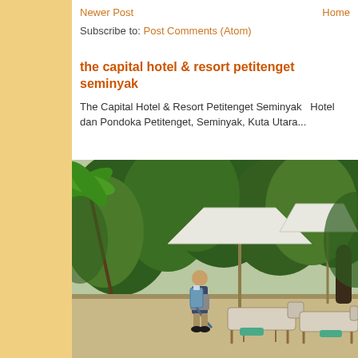Newer Post    Home
Subscribe to: Post Comments (Atom)
the capital hotel & resort petitenget seminyak
The Capital Hotel & Resort Petitenget Seminyak   Hotel dan Pondoka Petitenget, Seminyak, Kuta Utara...
[Figure (photo): Hotel pool area with lounge chairs, beach umbrellas, a staff member carrying cleaning equipment, and tropical garden background.]